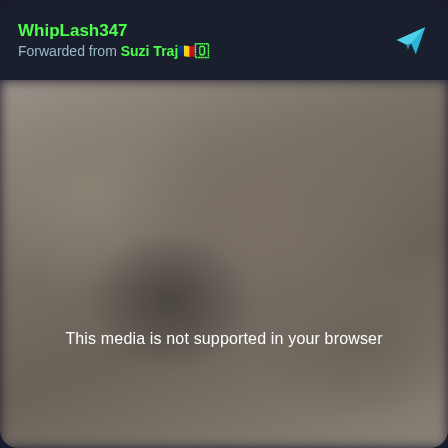WhipLash347
Forwarded from Suzi Traj🇷🇴🇴
[Figure (screenshot): Blurred video thumbnail with message: This media is not supported in your browser]
This media is not supported in your browser